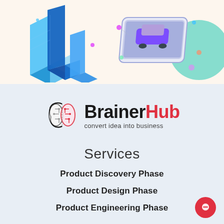[Figure (illustration): Top banner with isometric city buildings on the left and a smartphone with car on the right, against a cream/beige background with a teal circle accent.]
[Figure (logo): BrainerHub logo — brain circuit icon on the left, 'BrainerHub' in bold text (Brainer in black, Hub in red), with tagline 'convert idea into business' below.]
Services
Product Discovery Phase
Product Design Phase
Product Engineering Phase